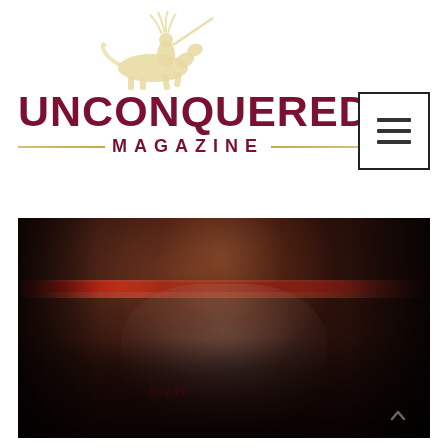[Figure (logo): Unconquered Magazine logo with FSU Osceola on horseback silhouette above the text UNCONQUERED MAGAZINE with decorative lines]
[Figure (other): Menu/hamburger button icon — three horizontal lines inside a square border]
[Figure (photo): Florida State University basketball player wearing a white FSU STATE jersey, smiling and celebrating in front of a crowd in a darkened arena with red scoreboard lighting in background]